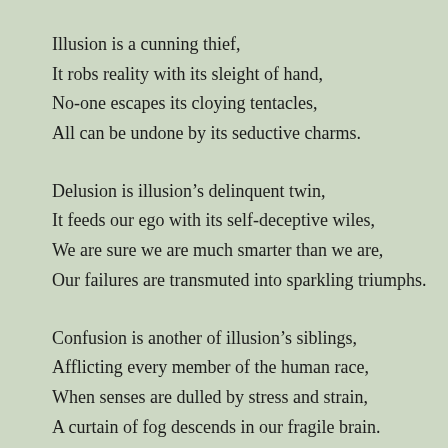Illusion is a cunning thief,
It robs reality with its sleight of hand,
No-one escapes its cloying tentacles,
All can be undone by its seductive charms.
Delusion is illusion’s delinquent twin,
It feeds our ego with its self-deceptive wiles,
We are sure we are much smarter than we are,
Our failures are transmuted into sparkling triumphs.
Confusion is another of illusion’s siblings,
Afflicting every member of the human race,
When senses are dulled by stress and strain,
A curtain of fog descends in our fragile brain.